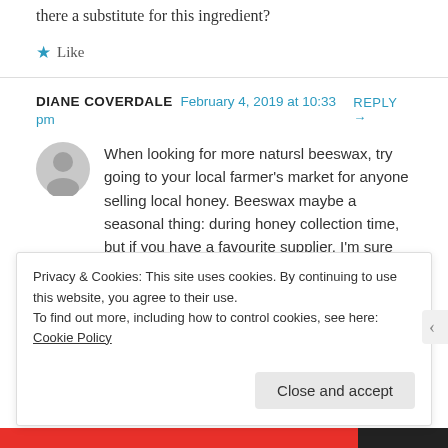there a substitute for this ingredient?
★ Like
DIANE COVERDALE   February 4, 2019 at 10:33 pm   REPLY →
When looking for more natursl beeswax, try going to your local farmer's market for anyone selling local honey. Beeswax maybe a seasonal thing: during honey collection time, but if you have a favourite supplier, I'm sure they can spare a chunk or two to
Privacy & Cookies: This site uses cookies. By continuing to use this website, you agree to their use.
To find out more, including how to control cookies, see here: Cookie Policy
Close and accept